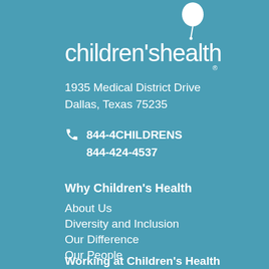[Figure (logo): Children's Health logo with balloon icon and text 'children'shealth' with registered trademark symbol]
1935 Medical District Drive
Dallas, Texas 75235
844-4CHILDRENS
844-424-4537
Why Children's Health
About Us
Diversity and Inclusion
Our Difference
Our People
Sustainability Program
Working at Children's Health